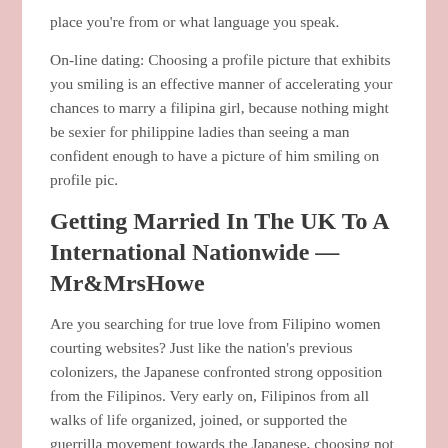place you're from or what language you speak.
On-line dating: Choosing a profile picture that exhibits you smiling is an effective manner of accelerating your chances to marry a filipina girl, because nothing might be sexier for philippine ladies than seeing a man confident enough to have a picture of him smiling on profile pic.
Getting Married In The UK To A International Nationwide — Mr&MrsHowe
Are you searching for true love from Filipino women courting websites? Just like the nation's previous colonizers, the Japanese confronted strong opposition from the Filipinos. Very early on, Filipinos from all walks of life organized, joined, or supported the guerrilla movement towards the Japanese, choosing not to watch for the